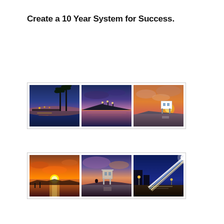Create a 10 Year System for Success.
[Figure (photo): Grid of six sunset/nighttime coastal and urban photography images arranged in two rows of three.]